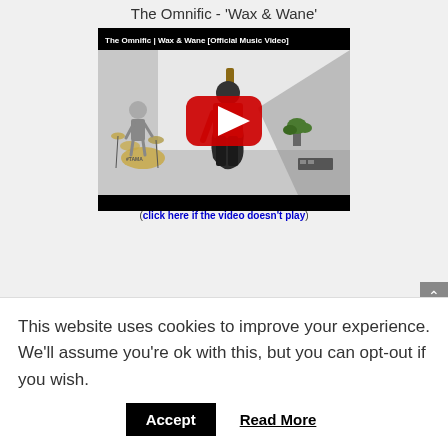The Omnific - 'Wax & Wane'
[Figure (screenshot): YouTube video thumbnail for 'The Omnific | Wax & Wane [Official Music Video]' showing a drummer and guitarist in a white studio, with a red YouTube play button overlay. Below the video: '(click here if the video doesn't play)']
This website uses cookies to improve your experience. We'll assume you're ok with this, but you can opt-out if you wish.
Accept   Read More